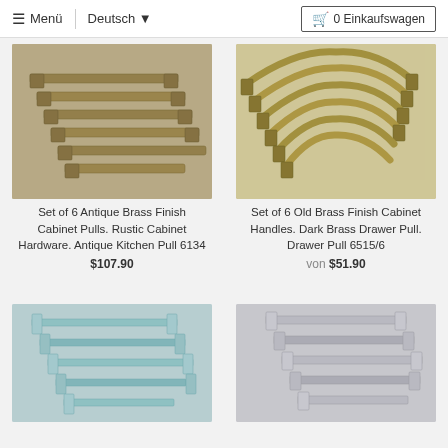≡ Menü | Deutsch ▼    🛒 0 Einkaufswagen
[Figure (photo): Set of 6 antique brass finish cabinet pulls stacked diagonally on grey background]
Set of 6 Antique Brass Finish Cabinet Pulls. Rustic Cabinet Hardware. Antique Kitchen Pull 6134
$107.90
[Figure (photo): Set of 6 old brass finish cabinet handles stacked diagonally on grey background]
Set of 6 Old Brass Finish Cabinet Handles. Dark Brass Drawer Pull. Drawer Pull 6515/6
von $51.90
[Figure (photo): Light blue/mint colored cabinet pulls stacked on grey background]
[Figure (photo): Silver/chrome cabinet pulls stacked on grey background]